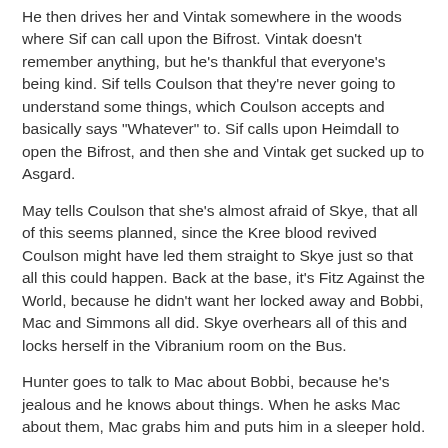He then drives her and Vintak somewhere in the woods where Sif can call upon the Bifrost. Vintak doesn't remember anything, but he's thankful that everyone's being kind. Sif tells Coulson that they're never going to understand some things, which Coulson accepts and basically says "Whatever" to. Sif calls upon Heimdall to open the Bifrost, and then she and Vintak get sucked up to Asgard.
May tells Coulson that she's almost afraid of Skye, that all of this seems planned, since the Kree blood revived Coulson might have led them straight to Skye just so that all this could happen. Back at the base, it's Fitz Against the World, because he didn't want her locked away and Bobbi, Mac and Simmons all did. Skye overhears all of this and locks herself in the Vibranium room on the Bus.
Hunter goes to talk to Mac about Bobbi, because he's jealous and he knows about things. When he asks Mac about them, Mac grabs him and puts him in a sleeper hold.
More Inhumans next week, one of which appears to be Edward Scissorhands.